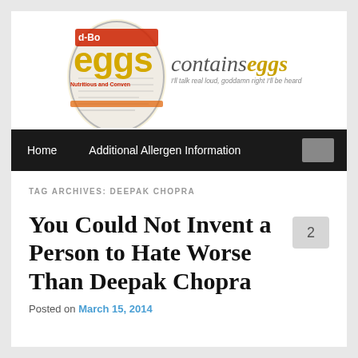[Figure (logo): Contains Eggs blog logo featuring an egg carton label with 'eggs' text in yellow on brown egg shape, with site name 'containseggs' and tagline 'I'll talk real loud, goddamn right I'll be heard']
Home  Additional Allergen Information
TAG ARCHIVES: DEEPAK CHOPRA
You Could Not Invent a Person to Hate Worse Than Deepak Chopra
Posted on March 15, 2014